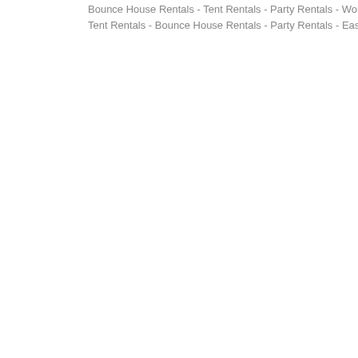Bounce House Rentals - Tent Rentals - Party Rentals - Worcester, MA 0... Tent Rentals - Bounce House Rentals - Party Rentals - East Granby CT 06...